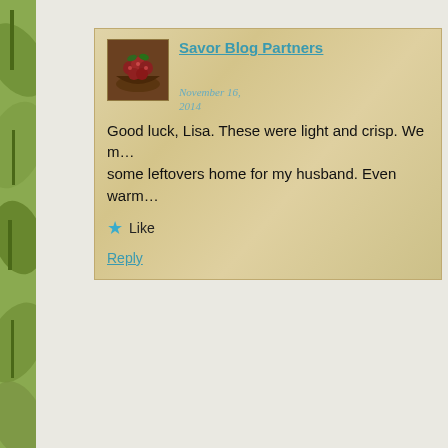Savor Blog Partners
November 16, 2014
Good luck, Lisa. These were light and crisp. We m… some leftovers home for my husband. Even warm…
Like
Reply
Elda Islas
My son calls this a vanishing dish, not because it isn't b… It doesn't last long on the plate.
January 23, 2014
Like
Reply
Lynette Salaber Elias
My mother-in-law, Maria Luisa Elias, use to make these…